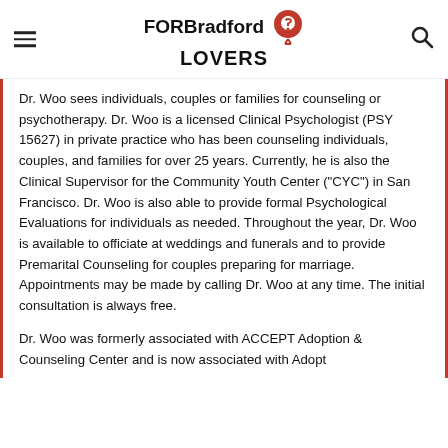FOR Bradford LOVERS
Dr. Woo sees individuals, couples or families for counseling or psychotherapy. Dr. Woo is a licensed Clinical Psychologist (PSY 15627) in private practice who has been counseling individuals, couples, and families for over 25 years. Currently, he is also the Clinical Supervisor for the Community Youth Center ("CYC") in San Francisco. Dr. Woo is also able to provide formal Psychological Evaluations for individuals as needed. Throughout the year, Dr. Woo is available to officiate at weddings and funerals and to provide Premarital Counseling for couples preparing for marriage. Appointments may be made by calling Dr. Woo at any time. The initial consultation is always free.
Dr. Woo was formerly associated with ACCEPT Adoption & Counseling Center and is now associated with Adopt